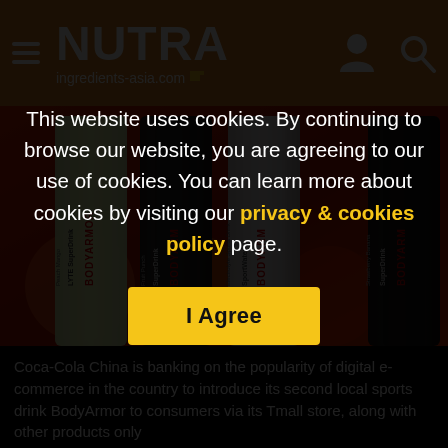NUTRA ingredients-asia.com
[Figure (photo): Multiple BodyArmor sports drink bottles displayed side by side: Peach Mango LYTE SuperDrink, Fruit Punch BodyArmor SuperDrink, Electrolyte Sports Drink SportWater, and Strawberry Banana SuperDrink]
Coca-Cola China is banking on the popularity of digital e-commerce in the country to introduce its second local sports drink BodyArmor to consumers via its Tmall store, along with other products only
This website uses cookies. By continuing to browse our website, you are agreeing to our use of cookies. You can learn more about cookies by visiting our privacy & cookies policy page.
I Agree